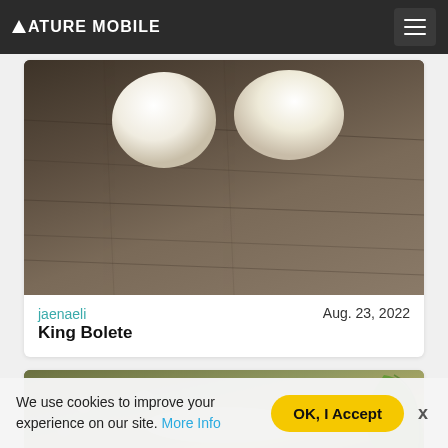NATURE MOBILE
[Figure (photo): Close-up photo of two white King Bolete mushroom caps on dark wood grain background]
jaenaeli
King Bolete
Aug. 23, 2022
[Figure (photo): Partial photo of mushrooms on gravel/rocky surface with green leaf visible on right]
We use cookies to improve your experience on our site. More Info